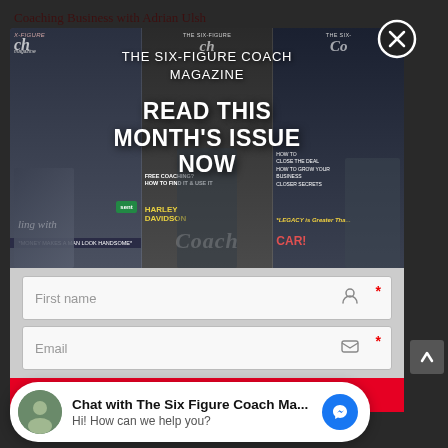Coaching Business with Adrian Ulsh
The Number One Problem Most Business Coaches Face
Key Accounting Terms All Small Business...
[Figure (screenshot): Modal popup overlay on a website showing The Six-Figure Coach Magazine with 'READ THIS MONTH'S ISSUE NOW' call to action, a First name field, an Email field, and a GET INSTANT ACCESS button in red]
THE SIX-FIGURE COACH MAGAZINE
READ THIS MONTH'S ISSUE NOW
First name
Email
GET INSTANT ACCESS!
Chat with The Six Figure Coach Ma...
Hi! How can we help you?